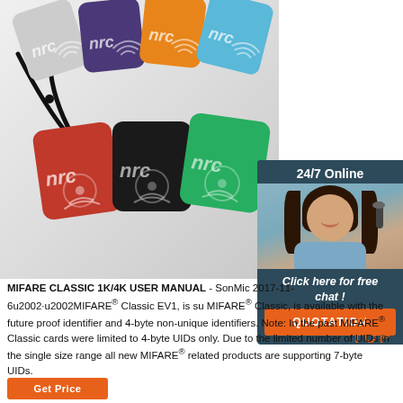[Figure (photo): Multiple colorful NFC keyfob tags in various colors (white, purple, orange, light blue, red, black, green) with 'nfc' logos, attached to black cords, arranged in a fan/spread layout on a white background.]
[Figure (photo): Chat widget showing '24/7 Online' header with a smiling woman wearing a headset, 'Click here for free chat!' call to action, and an orange 'QUOTATION' button.]
MIFARE CLASSIC 1K/4K USER MANUAL - SonMic 2017-11-6u2002·u2002MIFARE® Classic EV1, is su MIFARE® Classic, is available with the future proof identifier and 4-byte non-unique identifiers. Note: In the past MIFARE® Classic cards were limited to 4-byte UIDs only. Due to the limited number of UIDs in the single size range all new MIFARE® related products are supporting 7-byte UIDs.
[Figure (other): TOP navigation button with orange dots/footprints icon above 'TOP' text in orange]
[Figure (other): Orange 'Get Price' button at bottom left]